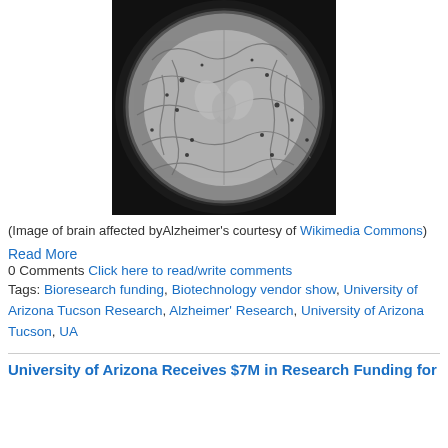[Figure (photo): MRI brain scan showing axial cross-section of a brain affected by Alzheimer's disease, displayed in black and white/grayscale]
(Image of brain affected byAlzheimer’s courtesy of Wikimedia Commons)
Read More
0 Comments Click here to read/write comments
Tags: Bioresearch funding, Biotechnology vendor show, University of Arizona Tucson Research, Alzheimer’ Research, University of Arizona Tucson, UA
University of Arizona Receives $7M in Research Funding for